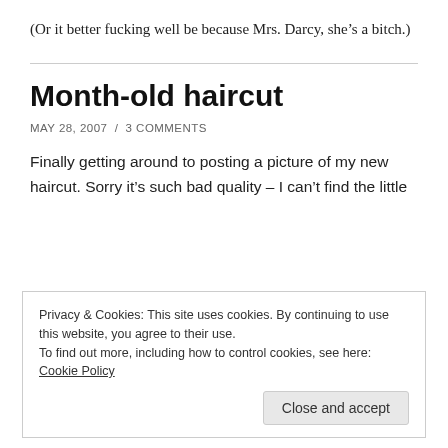(Or it better fucking well be because Mrs. Darcy, she’s a bitch.)
Month-old haircut
MAY 28, 2007  /  3 COMMENTS
Finally getting around to posting a picture of my new haircut. Sorry it’s such bad quality – I can’t find the little
Privacy & Cookies: This site uses cookies. By continuing to use this website, you agree to their use.
To find out more, including how to control cookies, see here: Cookie Policy